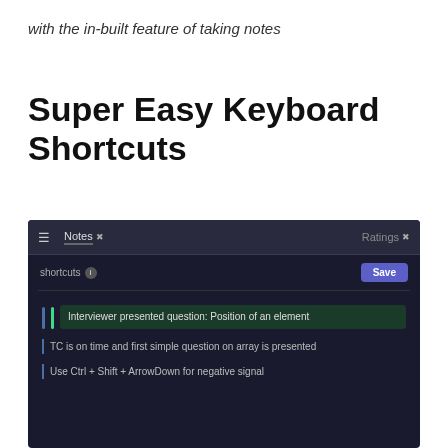with the in-built feature of taking notes
Super Easy Keyboard Shortcuts
[Figure (screenshot): Dark-themed UI screenshot showing a notes panel with keyboard shortcuts. Top bar has hamburger menu, 'Notes' tab and 'Ratings' tab. A 'shortcuts' label with info icon and a blue 'Save' button. Three note entries: 1) Green-highlighted 'Interviewer presented question: Position of an element', 2) 'TC is on time and first simple question on array is presented', 3) 'Use Ctrl + Shift + ArrowDown for negative signal']